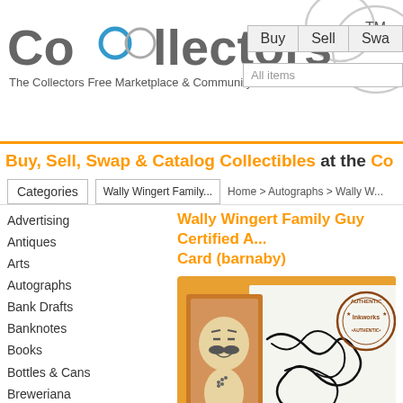[Figure (logo): Collectors website logo with linked circles forming 'Co' and text 'llectors TM' with tagline 'The Collectors Free Marketplace & Community']
Buy   Sell   Swa...
All items
Buy, Sell, Swap & Catalog Collectibles at the Co...
Categories
Wally Wingert Family...
Home > Autographs > Wally W...
Wally Wingert Family Guy Certified A... Card (barnaby)
Advertising
Antiques
Arts
Autographs
Bank Drafts
Banknotes
Books
Bottles & Cans
Breweriana
Candies
Cards
Cars
Cigarettes
Clothing
Coins
Comics
[Figure (photo): Wally Wingert Family Guy autographed trading card showing a cartoon bald mustachioed character with an authentic Inkworks certification stamp and a black ink signature]